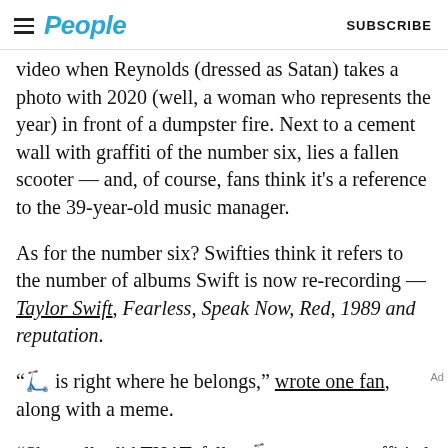People | SUBSCRIBE
video when Reynolds (dressed as Satan) takes a photo with 2020 (well, a woman who represents the year) in front of a dumpster fire. Next to a cement wall with graffiti of the number six, lies a fallen scooter — and, of course, fans think it's a reference to the 39-year-old music manager.
As for the number six? Swifties think it refers to the number of albums Swift is now re-recording — Taylor Swift, Fearless, Speak Now, Red, 1989 and reputation.
"🛴 is right where he belongs," wrote one fan, along with a meme.
"She really did THAT, fallen 🛴 next to a graffitied